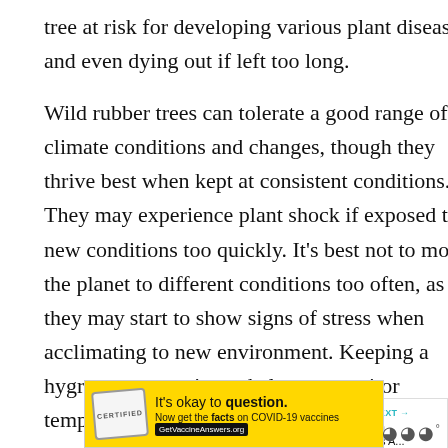tree at risk for developing various plant diseases and even dying out if left too long.
Wild rubber trees can tolerate a good range of climate conditions and changes, though they thrive best when kept at consistent conditions. They may experience plant shock if exposed to new conditions too quickly. It's best not to move the planet to different conditions too often, as they may start to show signs of stress when acclimating to new environment. Keeping a hygrometer near it can help you monitor temperature and humidity settings.
[Figure (infographic): Overlay UI elements: teal heart/like button showing count of 5, and a share icon]
[Figure (infographic): What's Next promotional banner showing a rubber tree plant image with text 'WHAT'S NEXT → How Much Light Does A...']
[Figure (infographic): Yellow advertisement banner for COVID-19 vaccine information: 'It's okay to question. Now get the facts on COVID-19 vaccines GetVaccineAnswers.org' with a stamp graphic]